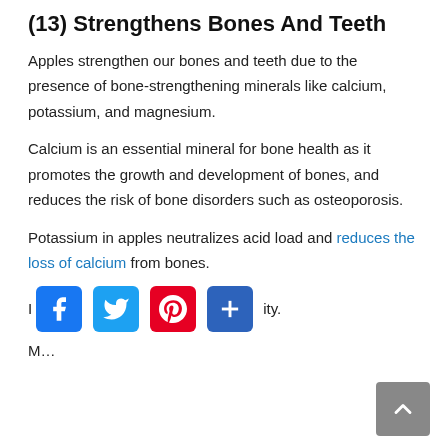(13) Strengthens Bones And Teeth
Apples strengthen our bones and teeth due to the presence of bone-strengthening minerals like calcium, potassium, and magnesium.
Calcium is an essential mineral for bone health as it promotes the growth and development of bones, and reduces the risk of bone disorders such as osteoporosis.
Potassium in apples neutralizes acid load and reduces the loss of calcium from bones.
M... improves bone density.